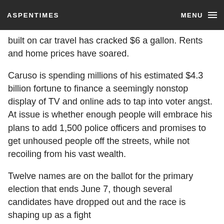ASPENTIMES | MENU
built on car travel has cracked $6 a gallon. Rents and home prices have soared.
Caruso is spending millions of his estimated $4.3 billion fortune to finance a seemingly nonstop display of TV and online ads to tap into voter angst. At issue is whether enough people will embrace his plans to add 1,500 police officers and promises to get unhoused people off the streets, while not recoiling from his vast wealth.
Twelve names are on the ballot for the primary election that ends June 7, though several candidates have dropped out and the race is shaping up as a fight